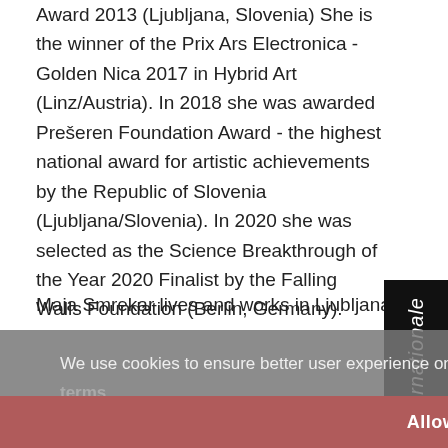Award 2013 (Ljubljana, Slovenia) She is the winner of the Prix Ars Electronica - Golden Nica 2017 in Hybrid Art (Linz/Austria). In 2018 she was awarded Prešeren Foundation Award - the highest national award for artistic achievements by the Republic of Slovenia (Ljubljana/Slovenia). In 2020 she was selected as the Science Breakthrough of the Year 2020 Finalist by the Falling Walls Foundation (Berlin, Germany).
Maja Smrekar lives and works in Ljubljana (Slovenia
We use cookies to ensure better user experience on our website.  Cookie Policy
mOther(ness)
Allow cookies
[Figure (other): Vertical sidebar with italic text 'internationale' on black background]